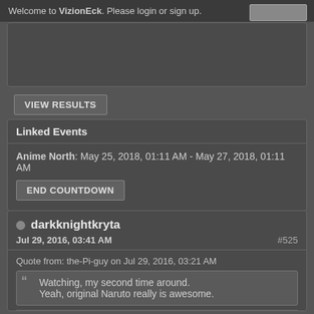Welcome to VizionEck. Please login or sign up.
VIEW RESULTS
Linked Events
Anime North: May 25, 2018, 01:11 AM - May 27, 2018, 01:11 AM
END COUNTDOWN
darkknightkryta
Jul 29, 2016, 03:41 AM
#525
Quote from: the-Pi-guy on Jul 29, 2016, 03:21 AM
Watching, my second time around.
Yeah, original Naruto really is awesome.
Oh.  I never actually watched the anime for Rosario Vampire.  The anime was too off.  Especially Capu2.  Manga was great... until the ending.